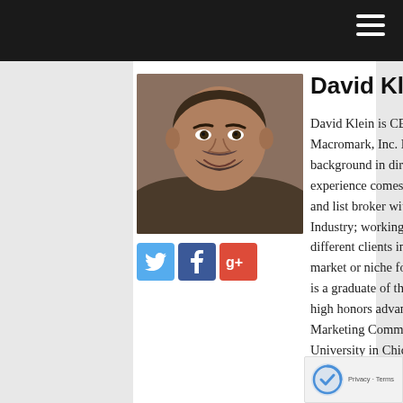David Klein
[Figure (photo): Headshot photo of David Klein, a middle-aged man with dark hair and beard, smiling]
[Figure (infographic): Social media icons: Twitter (blue bird), Facebook (blue f), Google+ (red g+)]
David Klein is CEO and President of Macromark, Inc. David has a rich and deep background in direct response marketing. His experience comes from being a consultant and list broker with more than 25 years in the Industry; working with several hundred different clients in just about every industry, market or niche found in direct mail. David is a graduate of the University of Illinois with high honors advanced degree course work in Marketing Communications from Roosevelt University in Chicago. Part of Macromark's vision is to help its clients succeed in their acquisition efforts for finding new customers regardless of the marketing channel or media used. Add me to your G+